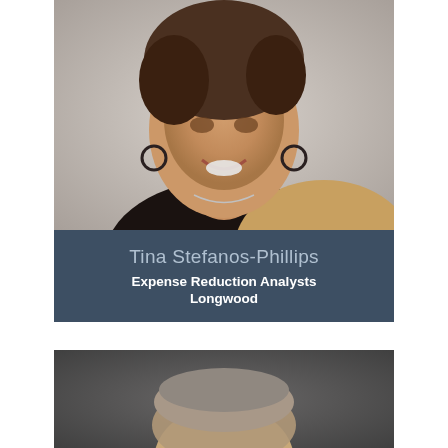[Figure (photo): Professional headshot of Tina Stefanos-Phillips, a woman with short dark hair, smiling, wearing a black top with gold/beige patterned fabric, hoop earrings and a necklace, against a light grey textured background]
Tina Stefanos-Phillips
Expense Reduction Analysts
Longwood
[Figure (photo): Partial professional headshot of a man with grey/light brown hair, cropped at the bottom of the page, against a dark grey background]